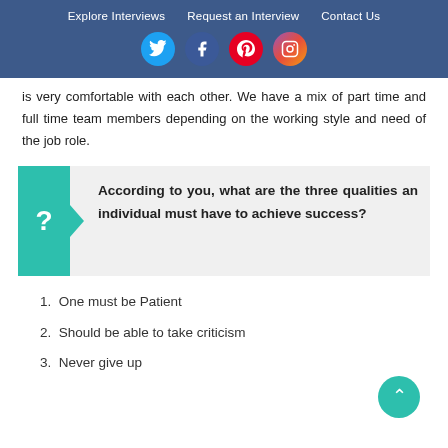Explore Interviews  Request an Interview  Contact Us
is very comfortable with each other. We have a mix of part time and full time team members depending on the working style and need of the job role.
According to you, what are the three qualities an individual must have to achieve success?
1. One must be Patient
2. Should be able to take criticism
3. Never give up